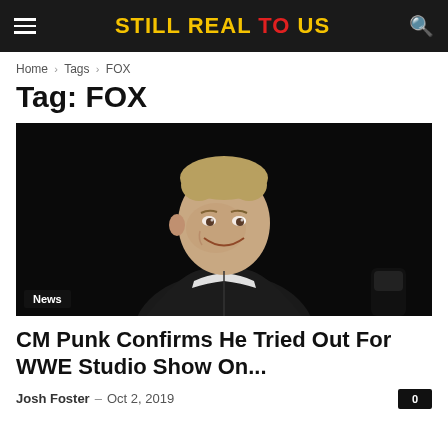STILL REAL TO US
Home > Tags > FOX
Tag: FOX
[Figure (photo): CM Punk smiling, wearing a black hoodie over a white t-shirt, against a dark/black background. A 'News' badge appears in the bottom left corner of the image.]
CM Punk Confirms He Tried Out For WWE Studio Show On...
Josh Foster – Oct 2, 2019